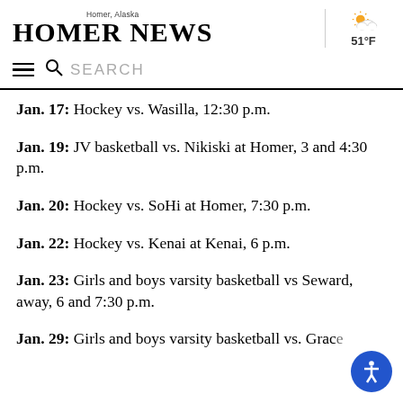Homer News - Homer, Alaska
Jan. 17: Hockey vs. Wasilla, 12:30 p.m.
Jan. 19: JV basketball vs. Nikiski at Homer, 3 and 4:30 p.m.
Jan. 20: Hockey vs. SoHi at Homer, 7:30 p.m.
Jan. 22: Hockey vs. Kenai at Kenai, 6 p.m.
Jan. 23: Girls and boys varsity basketball vs Seward, away, 6 and 7:30 p.m.
Jan. 29: Girls and boys varsity basketball vs. Grace